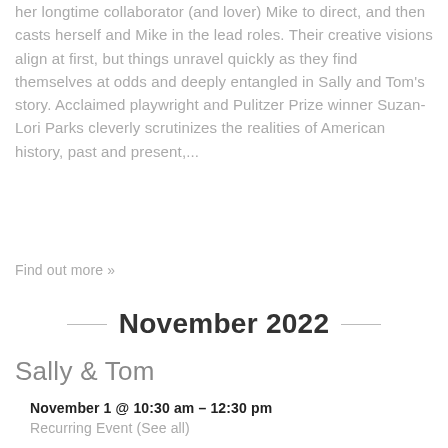her longtime collaborator (and lover) Mike to direct, and then casts herself and Mike in the lead roles. Their creative visions align at first, but things unravel quickly as they find themselves at odds and deeply entangled in Sally and Tom's story. Acclaimed playwright and Pulitzer Prize winner Suzan-Lori Parks cleverly scrutinizes the realities of American history, past and present,...
Find out more »
November 2022
Sally & Tom
November 1 @ 10:30 am – 12:30 pm
Recurring Event (See all)